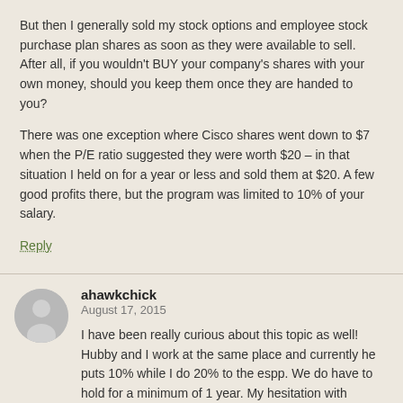But then I generally sold my stock options and employee stock purchase plan shares as soon as they were available to sell. After all, if you wouldn't BUY your company's shares with your own money, should you keep them once they are handed to you?
There was one exception where Cisco shares went down to $7 when the P/E ratio suggested they were worth $20 – in that situation I held on for a year or less and sold them at $20. A few good profits there, but the program was limited to 10% of your salary.
Reply
ahawkchick
August 17, 2015
I have been really curious about this topic as well! Hubby and I work at the same place and currently he puts 10% while I do 20% to the espp. We do have to hold for a minimum of 1 year. My hesitation with selling shares as we are able to is that we're currently each making > 100000 so I'm thinking the tax hit we'd take from the gains will impact is more now than they will later when we are on FIRE and earning are...